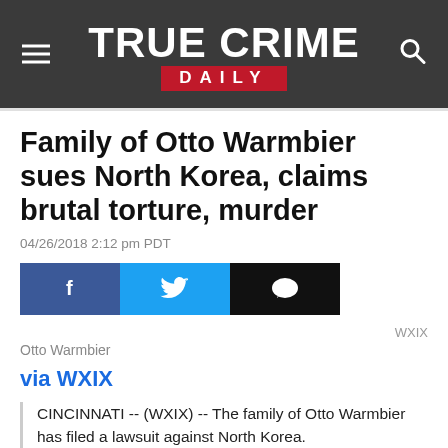TRUE CRIME DAILY
Family of Otto Warmbier sues North Korea, claims brutal torture, murder
04/26/2018 2:12 pm PDT
[Figure (other): Social share buttons: Facebook, Twitter, Comment]
WXIX
Otto Warmbier
via WXIX
CINCINNATI -- (WXIX) -- The family of Otto Warmbier has filed a lawsuit against North Korea.